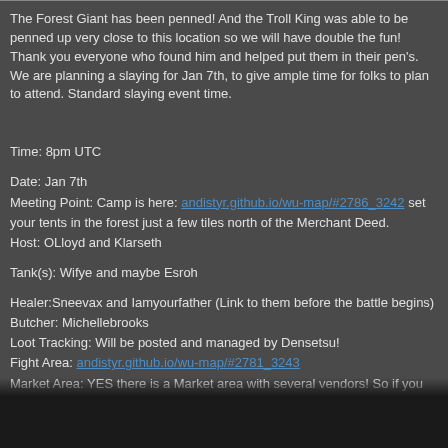The Forest Giant has been penned! And the Troll King was able to be penned up very close to this location so we will have double the fun! Thank you everyone who found him and helped put them in their pen's. We are planning a slaying for Jan 7th, to give ample time for folks to plan to attend. Standard slaying event time.
Time: 8pm UTC
Date: Jan 7th
Meeting Point: Camp is here: andistyr.github.io/wu-map/#2786_3242 set your tents in the forest just a few tiles north of the Merchant Deed.
Host: OLloyd and Klarseth
Tank(s): Wifye and maybe Esroh
Healer:Sneevax and Iamyourfather (Link to them before the battle begins)
Butcher: Michellebrooks
Loot Tracking: Will be posted and managed by Densetsu!
Fight Area: andistyr.github.io/wu-map/#2781_3243
Market Area: YES there is a Market area with several vendors! So if you are interested in buying stuff a token is close to the market stalls. Mailbox with 99 Courier to mail things. If you would like to place a merchant feel free if the merchant stall is not full we will build one if we like to the expand